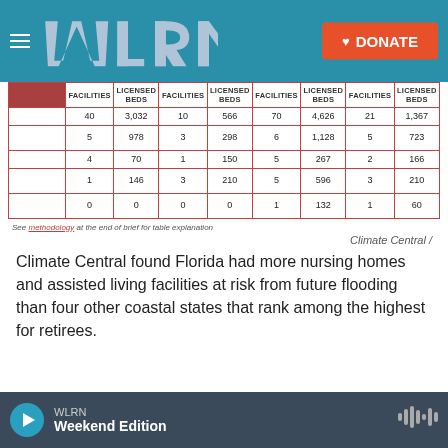[Figure (screenshot): WLRN website navigation bar with WLRN logo and orange Donate button on teal background]
|  | FACILITIES | LICENSED BEDS | FACILITIES | LICENSED BEDS | FACILITIES | LICENSED BEDS | FACILITIES | LICENSED BEDS |
| --- | --- | --- | --- | --- | --- | --- | --- | --- |
| FLORIDA | 40 | 3,032 | 10 | 566 | 70 | 4,626 | 21 | 1,367 |
| NEW JERSEY | 5 | 978 | 3 | 298 | 6 | 1,128 | 5 | 723 |
| TEXAS | 4 | 70 | 1 | 150 | 5 | 267 | 2 | 166 |
| NORTH CAROLINA | 1 | 146 | 3 | 210 | 5 | 596 | 3 | 210 |
| SOUTH CAROLINA | 0 | 0 | 0 | 0 | 1 | 132 | 1 | 60 |
See methodology at the end of brief for table explanation
Climate Central /
Climate Central found Florida had more nursing homes and assisted living facilities at risk from future flooding than four other coastal states that rank among the highest for retirees.
WLRN | Weekend Edition